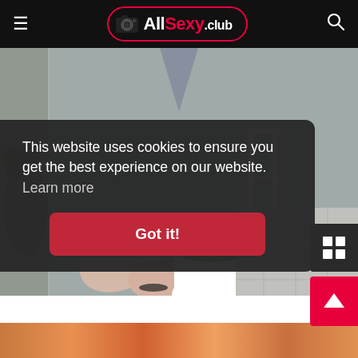AllSexy.club - website header with logo, hamburger menu, and search icon
[Figure (photo): Person wearing a grey knit sweater holding a white mug with a green matcha latte with latte art, seated in a cafe environment with white metal chairs and tiled floor in the background]
This website uses cookies to ensure you get the best experience on our website. Learn more
Got it!
[Figure (photo): Partial bottom strip showing colorful image at bottom of page]